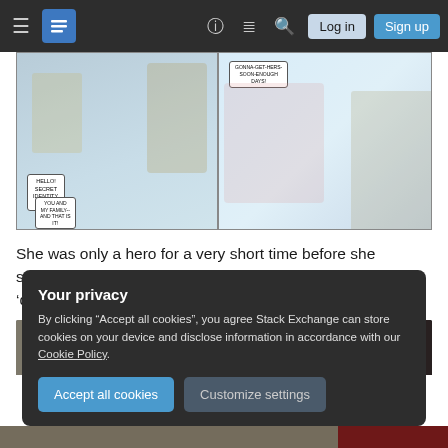Stack Exchange navigation bar with hamburger menu, logo, help, chat, search icons, Log in and Sign up buttons
[Figure (illustration): Comic book panel showing characters in a room; left panel has a blonde character sitting on furniture with speech bubbles saying 'HELLO! SECRET IDENTITY, HERE!' and 'YOU AND MY FAMILY-- AND THAT'S IT!'; right panel shows a dark-haired woman on a bed with speech bubble 'GONNA-GET-HERS-SOON-ENOUGH DAYS!']
She was only a hero for a very short time before she sacrificed the charm to defeat Brainiac and fake her own ‘death’.
[Figure (photo): Partial view of a second comic image strip, dark background, with a circular yellow badge visible on the right side]
Your privacy
By clicking "Accept all cookies", you agree Stack Exchange can store cookies on your device and disclose information in accordance with our Cookie Policy.
Accept all cookies  Customize settings